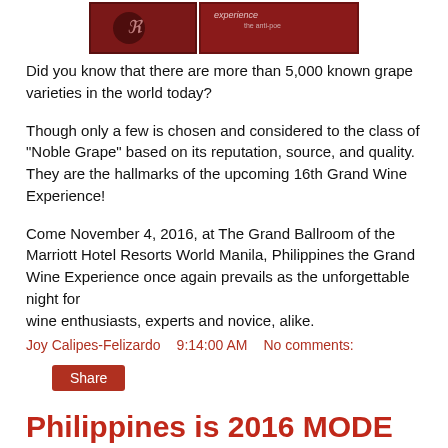[Figure (photo): Two side-by-side photos at the top: left shows a dark reddish wine-related image, right shows a label or logo for 'experience']
Did you know that there are more than 5,000 known grape varieties in the world today?
Though only a few is chosen and considered to the class of “Noble Grape” based on its reputation, source, and quality. They are the hallmarks of the upcoming 16th Grand Wine Experience!
Come November 4, 2016, at The Grand Ballroom of the Marriott Hotel Resorts World Manila, Philippines the Grand Wine Experience once again prevails as the unforgettable night for wine enthusiasts, experts and novice, alike.
Joy Calipes-Felizardo   9:14:00 AM   No comments:
Share
Philippines is 2016 MODE Tour Travel